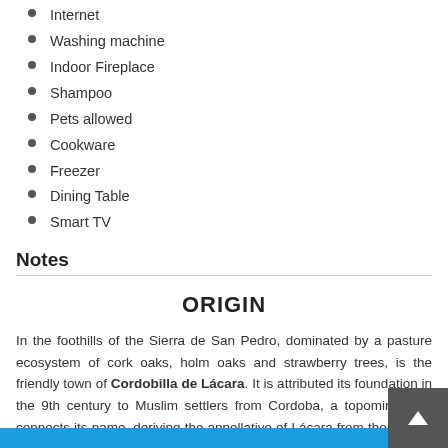Internet
Washing machine
Indoor Fireplace
Shampoo
Pets allowed
Cookware
Freezer
Dining Table
Smart TV
Notes
ORIGIN
In the foothills of the Sierra de San Pedro, dominated by a pasture ecosystem of cork oaks, holm oaks and strawberry trees, is the friendly town of Cordobilla de Lácara. It is attributed its foundation in the 9th century to Muslim settlers from Cordoba, a topominia that connects its name, deriving the appellative of Lácara from the stream in which it sits.